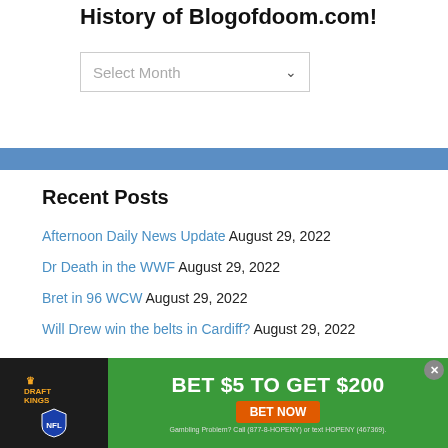History of Blogofdoom.com!
[Figure (other): A dropdown select widget with placeholder text 'Select Month' and a chevron arrow]
[Figure (other): A horizontal blue decorative bar/divider]
Recent Posts
Afternoon Daily News Update August 29, 2022
Dr Death in the WWF August 29, 2022
Bret in 96 WCW August 29, 2022
Will Drew win the belts in Cardiff? August 29, 2022
[Figure (other): DraftKings NFL advertisement banner: BET $5 TO GET $200, BET NOW button, Gambling Problem? Call (877-8-HOPENY) or text HOPENY (467369).]